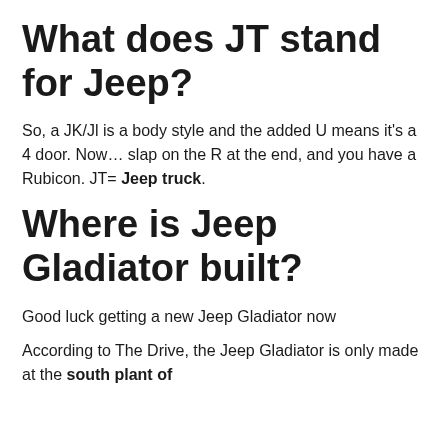What does JT stand for Jeep?
So, a JK/Jl is a body style and the added U means it's a 4 door. Now… slap on the R at the end, and you have a Rubicon. JT= Jeep truck.
Where is Jeep Gladiator built?
Good luck getting a new Jeep Gladiator now
According to The Drive, the Jeep Gladiator is only made at the south plant of